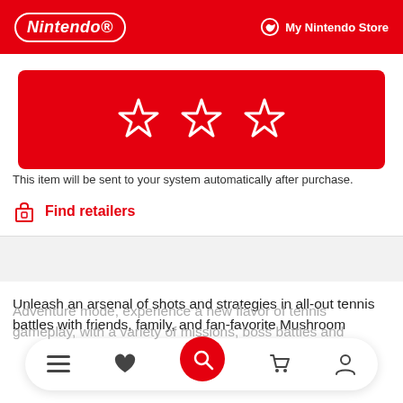Nintendo | My Nintendo Store
[Figure (illustration): Red banner with three white star icons (Mario-style outlined stars)]
This item will be sent to your system automatically after purchase.
Find retailers
Unleash an arsenal of shots and strategies in all-out tennis battles with friends, family, and fan-favorite Mushroom
[Figure (screenshot): Mobile bottom navigation bar with menu, heart/wishlist, search (red circle), cart, and account icons]
Adventure mode, experience a new flavor of tennis gameplay, with a variety of missions, boss battles and